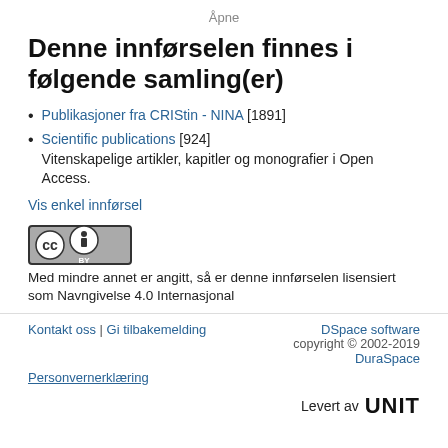Åpne
Denne innførselen finnes i følgende samling(er)
Publikasjoner fra CRIStin - NINA [1891]
Scientific publications [924]
Vitenskapelige artikler, kapitler og monografier i Open Access.
Vis enkel innførsel
[Figure (logo): Creative Commons Attribution (CC BY) license badge]
Med mindre annet er angitt, så er denne innførselen lisensiert som Navngivelse 4.0 Internasjonal
Kontakt oss | Gi tilbakemelding    DSpace software    copyright © 2002-2019    Personvernerklæring    DuraSpace    Levert av UNIT